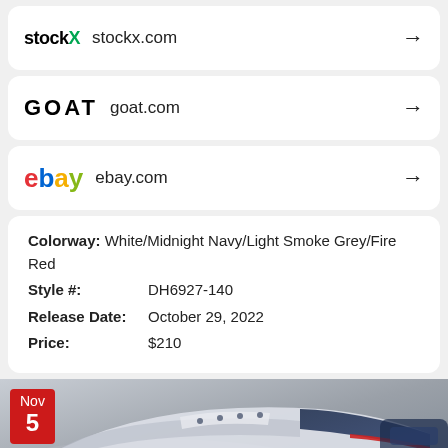stockX stockx.com →
GOAT goat.com →
ebay ebay.com →
| Colorway: | White/Midnight Navy/Light Smoke Grey/Fire Red |
| Style #: | DH6927-140 |
| Release Date: | October 29, 2022 |
| Price: | $210 |
[Figure (photo): Close-up photo of a sneaker (Jordan-style) in white/midnight navy/light smoke grey/fire red colorway, with a red date badge showing Nov 5 in the bottom-left corner]